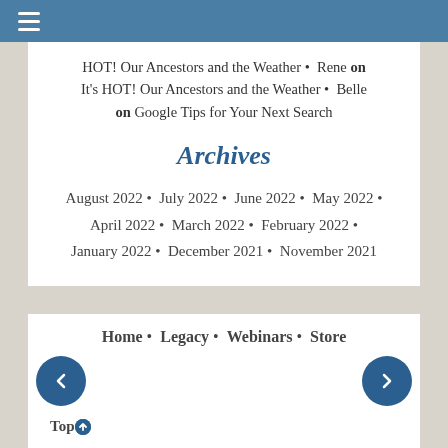≡ (hamburger menu)
HOT! Our Ancestors and the Weather • Rene on It's HOT! Our Ancestors and the Weather • Belle on Google Tips for Your Next Search
Archives
August 2022 • July 2022 • June 2022 • May 2022 • April 2022 • March 2022 • February 2022 • January 2022 • December 2021 • November 2021
Home • Legacy • Webinars • Store
Top ↑